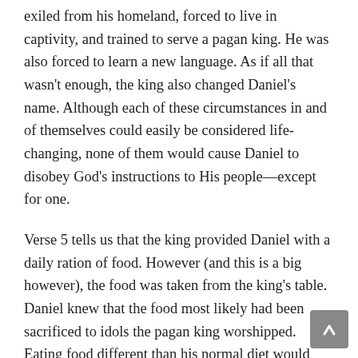exiled from his homeland, forced to live in captivity, and trained to serve a pagan king. He was also forced to learn a new language. As if all that wasn't enough, the king also changed Daniel's name. Although each of these circumstances in and of themselves could easily be considered life-changing, none of them would cause Daniel to disobey God's instructions to His people—except for one.
Verse 5 tells us that the king provided Daniel with a daily ration of food. However (and this is a big however), the food was taken from the king's table. Daniel knew that the food most likely had been sacrificed to idols the pagan king worshipped. Eating food different than his normal diet would have been a game changer for Daniel but eating food offered to idols was a deal breaker.